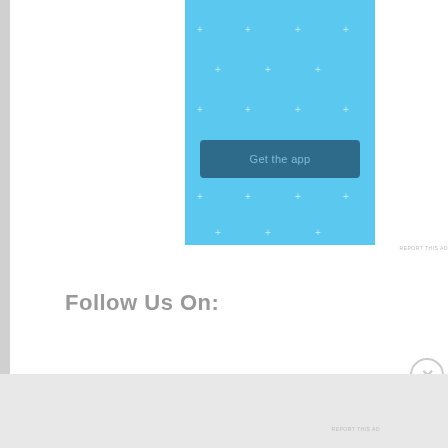[Figure (screenshot): A light blue advertisement banner with sparkle/cross decorations and a dark blue 'Get the app' button in the center]
REPORT THIS AD
Follow Us On:
Advertisements
[Figure (screenshot): Jetpack advertisement banner with green background, Jetpack logo on left and 'Back up your site' white button on right]
REPORT THIS AD